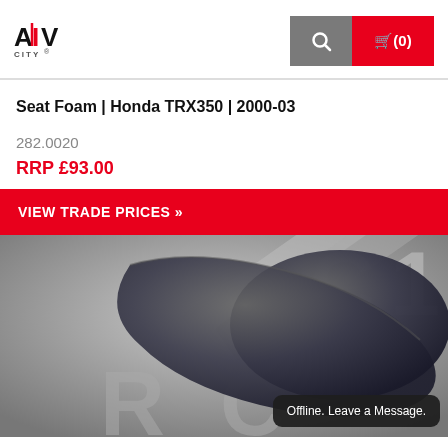ATV CITY
Seat Foam | Honda TRX350 | 2000-03
282.0020
RRP £93.00
VIEW TRADE PRICES »
[Figure (photo): Close-up photo of a black seat foam part for Honda TRX350 ATV, with partial text visible in the background]
Offline. Leave a Message.